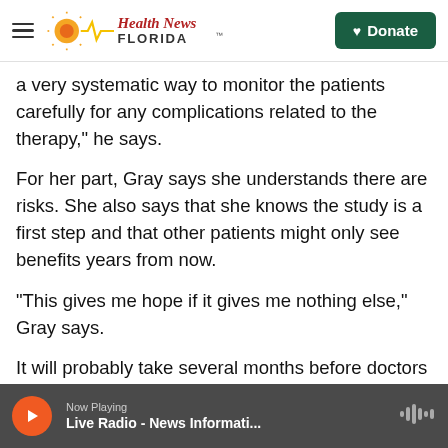Health News Florida — Donate
a very systematic way to monitor the patients carefully for any complications related to the therapy," he says.
For her part, Gray says she understands there are risks. She also says that she knows the study is a first step and that other patients might only see benefits years from now.
"This gives me hope if it gives me nothing else," Gray says.
It will probably take several months before doctors
Now Playing — Live Radio - News Informati...